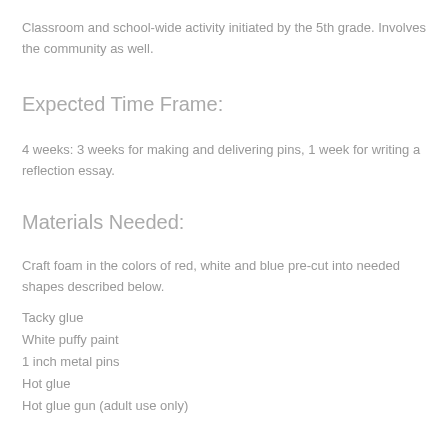Classroom and school-wide activity initiated by the 5th grade. Involves the community as well.
Expected Time Frame:
4 weeks: 3 weeks for making and delivering pins, 1 week for writing a reflection essay.
Materials Needed:
Craft foam in the colors of red, white and blue pre-cut into needed shapes described below.
Tacky glue
White puffy paint
1 inch metal pins
Hot glue
Hot glue gun (adult use only)